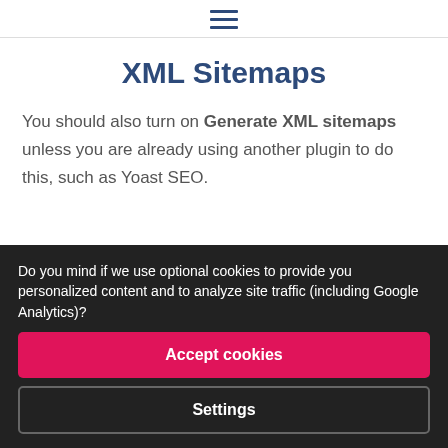≡
XML Sitemaps
You should also turn on Generate XML sitemaps unless you are already using another plugin to do this, such as Yoast SEO.
Do you mind if we use optional cookies to provide you personalized content and to analyze site traffic (including Google Analytics)?
Accept cookies
Settings